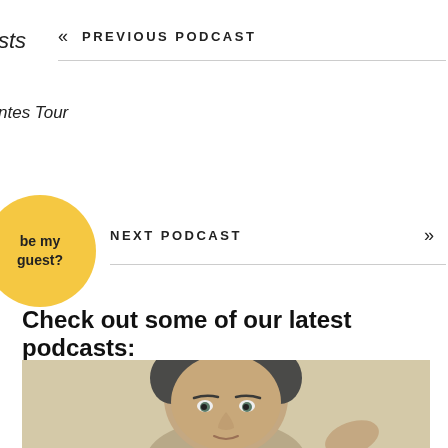sts
PREVIOUS PODCAST
ntes Tour
NEXT PODCAST
[Figure (other): Yellow circular button with text 'be my guest?']
Check out some of our latest podcasts:
[Figure (photo): Close-up photo of a middle-aged man with short dark grey hair, looking slightly to the side, against a light beige background]